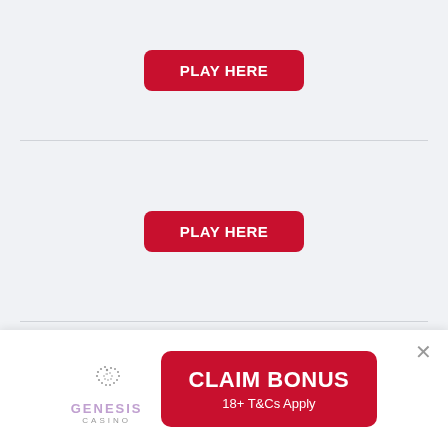[Figure (other): Red PLAY HERE button, first instance]
[Figure (other): Red PLAY HERE button, second instance]
[Figure (other): Red PLAY HERE button, third instance (partially visible)]
[Figure (other): Genesis Casino advertisement banner with CLAIM BONUS button and 18+ T&Cs Apply text]